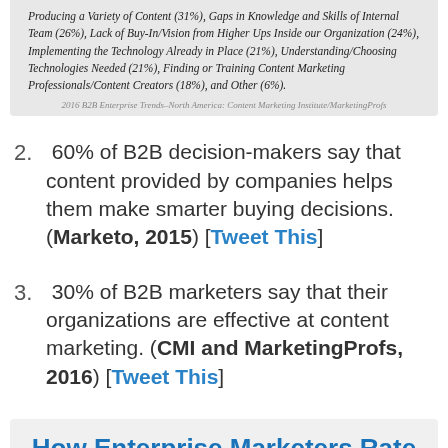Producing a Variety of Content (31%), Gaps in Knowledge and Skills of Internal Team (26%), Lack of Buy-In/Vision from Higher Ups Inside our Organization (24%), Implementing the Technology Already in Place (21%), Understanding/Choosing Technologies Needed (21%), Finding or Training Content Marketing Professionals/Content Creators (18%), and Other (6%).
2016 B2B Enterprise Trends–North America: Content Marketing Institute/MarketingProfs
60% of B2B decision-makers say that content provided by companies helps them make smarter buying decisions. (Marketo, 2015) [Tweet This]
30% of B2B marketers say that their organizations are effective at content marketing. (CMI and MarketingProfs, 2016) [Tweet This]
How Enterprise Marketers Rate the